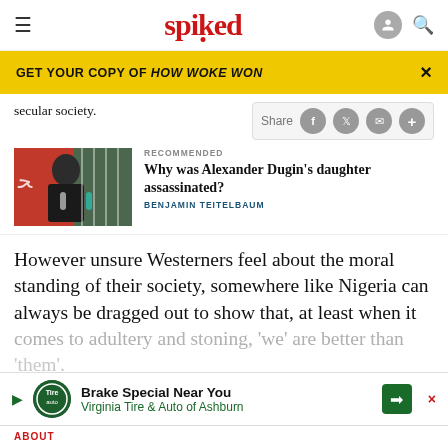spiked
GET YOUR COPY OF HOW WOKE WON
secular society.
[Figure (photo): Photo of Alexander Dugin speaking at a podium with microphones, with a red and teal patterned banner behind him]
RECOMMENDED
Why was Alexander Dugin's daughter assassinated?
BENJAMIN TEITELBAUM
However unsure Westerners feel about the moral standing of their society, somewhere like Nigeria can always be dragged out to show that, at least when it comes to adultery and stoning, 'we' are better than 'them'.
ABOUT
[Figure (screenshot): Advertisement for Brake Special Near You - Virginia Tire & Auto of Ashburn]